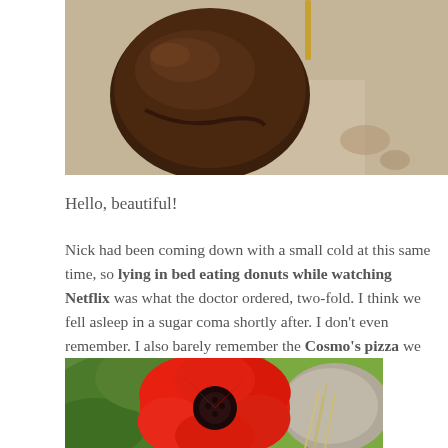[Figure (photo): Close-up photo of a chocolate-glazed donut on a concrete/tile surface]
Hello, beautiful!
Nick had been coming down with a small cold at this same time, so lying in bed eating donuts while watching Netflix was what the doctor ordered, two-fold. I think we fell asleep in a sugar coma shortly after. I don't even remember. I also barely remember the Cosmo's pizza we inhaled later that night. Such is life.
[Figure (photo): Photo of a bright red poppy flower with green leaves and grass in the background]